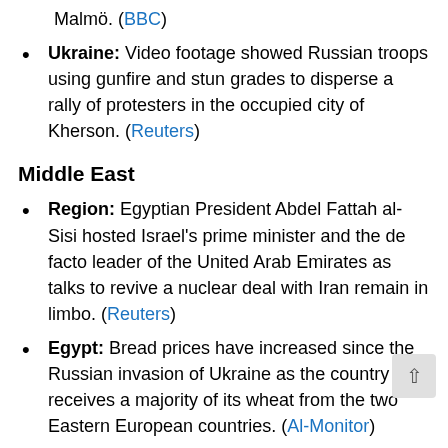Malmö. (BBC)
Ukraine: Video footage showed Russian troops using gunfire and stun grades to disperse a rally of protesters in the occupied city of Kherson. (Reuters)
Middle East
Region: Egyptian President Abdel Fattah al-Sisi hosted Israel's prime minister and the de facto leader of the United Arab Emirates as talks to revive a nuclear deal with Iran remain in limbo. (Reuters)
Egypt: Bread prices have increased since the Russian invasion of Ukraine as the country receives a majority of its wheat from the two Eastern European countries. (Al-Monitor)
Iran: The United States said a deal to restore the JCPOA nuclear deal is not imminent, but that US is prepared to make "difficult decisions" to make it happen. (AFP)